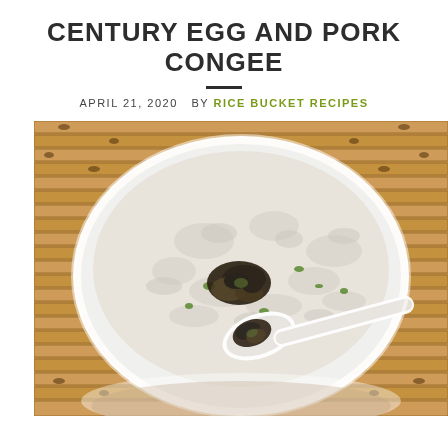CENTURY EGG AND PORK CONGEE
APRIL 21, 2020  BY RICE BUCKET RECIPES
[Figure (photo): A white bowl of congee topped with century egg pieces and green onions, with a white ceramic spoon scooping up some congee and century egg, placed on a bamboo mat background.]